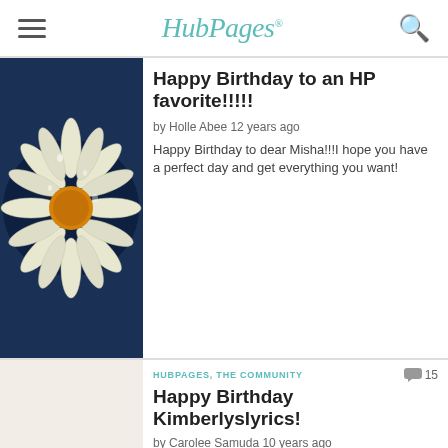HubPages
[Figure (photo): Close-up photo of a white daisy with water droplets, dark background]
Happy Birthday to an HP favorite!!!!!
by Holle Abee 12 years ago
Happy Birthday to dear Misha!!!I hope you have a perfect day and get everything you want!
HUBPAGES, THE COMMUNITY
[Figure (photo): Photo of a decorative cream-colored spiral seashell on white background]
Happy Birthday Kimberlyslyrics!
by Carolee Samuda 10 years ago
This is a happy birthday greeting to the newlywed, Kimberlyslyrics. I hope you have a wonderful day and many more beautiful days to come!BTW how is the hubby treating ya?
HUBPAGES, THE COMMUNITY
[Figure (photo): Photo of green ferns and pink plant leaves]
Randy Godwin is not a